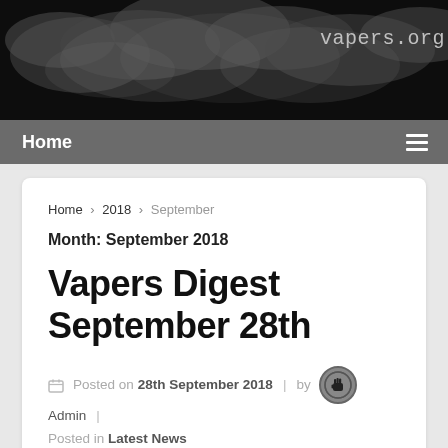[Figure (photo): Website header banner with smoke/vapour cloud on dark background and site title 'vapers.org.uk' in monospace font]
Home  ≡
Home › 2018 › September
Month: September 2018
Vapers Digest September 28th
Posted on 28th September 2018 | by Admin | Posted in Latest News
[Figure (photo): Thumbnail image of vaping device on dark background]